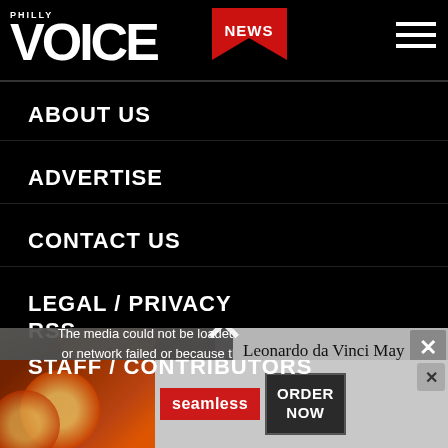PHILLY VOICE — NEWS
ABOUT US
ADVERTISE
CONTACT US
LEGAL / PRIVACY
STAFF / CONTRIBUTORS
RSS
[Figure (screenshot): Media player showing Mona Lisa image with error overlay: 'The media could not be loaded, either because the server or network failed or because the format is not supported.' and a dismiss X button]
The media could not be loaded, either because the server or network failed or because the format is not supported.
Leonardo da Vinci May Have Been Behind Nude Mona Lisa
[Figure (photo): Advertisement banner for Seamless food delivery with pizza image, Seamless logo in red, and ORDER NOW button]